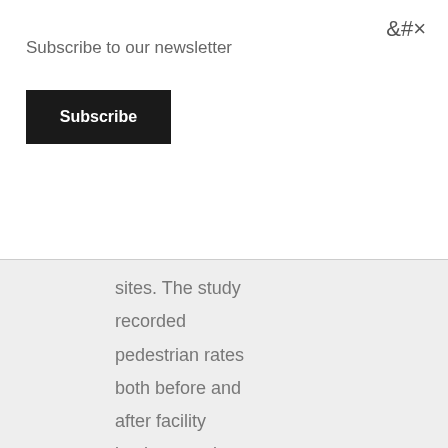×
Subscribe to our newsletter
Subscribe
sites. The study recorded pedestrian rates both before and after facility implementation, and analysed accompanying factors such as safety, delay and directness. It also